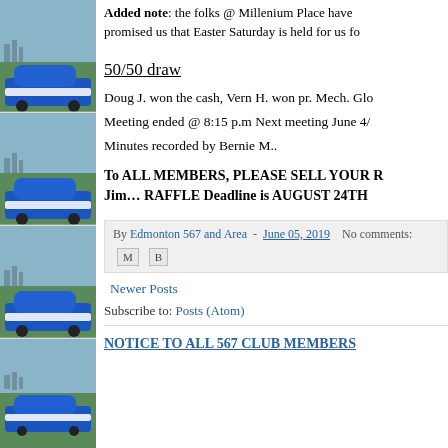[Figure (photo): Sidebar with repeated photos of a blue and white classic car parked on grass with a city skyline in the background]
Added note: the folks @ Millenium Place have promised us that Easter Saturday is held for us fo
50/50 draw
Doug J. won the cash, Vern H. won pr. Mech. Glo
Meeting ended @ 8:15 p.m Next meeting June 4/
Minutes recorded by Bernie M..
To ALL MEMBERS, PLEASE SELL YOUR R Jim… RAFFLE Deadline is AUGUST 24TH
By Edmonton 567 and Area - June 05, 2019   No comments:
Newer Posts
Subscribe to: Posts (Atom)
NOTICE TO ALL 567 CLUB MEMBERS